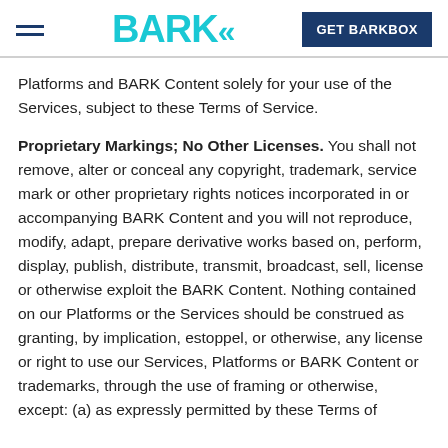BARK | GET BARKBOX
Platforms and BARK Content solely for your use of the Services, subject to these Terms of Service.
Proprietary Markings; No Other Licenses. You shall not remove, alter or conceal any copyright, trademark, service mark or other proprietary rights notices incorporated in or accompanying BARK Content and you will not reproduce, modify, adapt, prepare derivative works based on, perform, display, publish, distribute, transmit, broadcast, sell, license or otherwise exploit the BARK Content. Nothing contained on our Platforms or the Services should be construed as granting, by implication, estoppel, or otherwise, any license or right to use our Services, Platforms or BARK Content or trademarks, through the use of framing or otherwise, except: (a) as expressly permitted by these Terms of Service; (b) with our prior written consent in each instance.